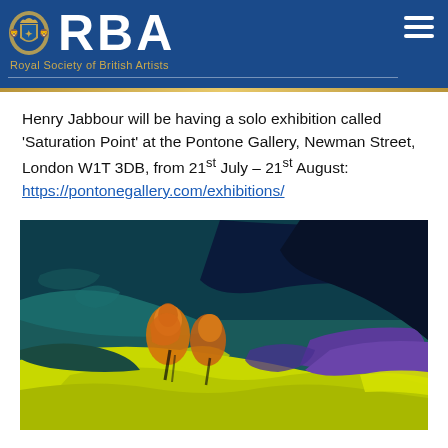RBA Royal Society of British Artists
Henry Jabbour will be having a solo exhibition called ‘Saturation Point’ at the Pontone Gallery, Newman Street, London W1T 3DB, from 21st July – 21st August: https://pontonegallery.com/exhibitions/
[Figure (photo): Abstract oil painting with vivid yellow-green, blue, and purple brushstrokes. Two orange-hued figures emerge from an expressionistic landscape background in deep teal and navy.]